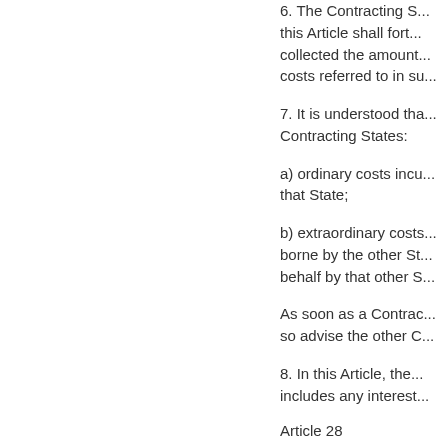6. The Contracting S... this Article shall fort... collected the amount... costs referred to in su...
7. It is understood tha... Contracting States:
a) ordinary costs incu... that State;
b) extraordinary costs... borne by the other St... behalf by that other S...
As soon as a Contrac... so advise the other C...
8. In this Article, the... includes any interest...
Article 28
EMPLOYEES OF D
Nothing in this Conv...